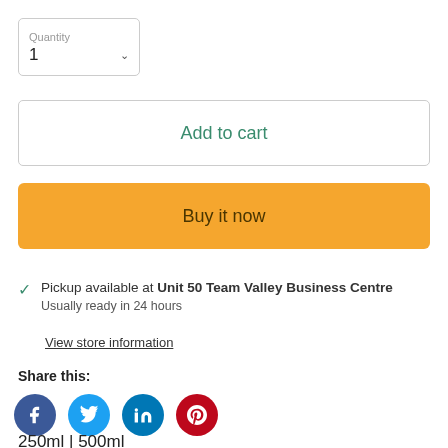Quantity 1
Add to cart
Buy it now
Pickup available at Unit 50 Team Valley Business Centre
Usually ready in 24 hours
View store information
Share this:
[Figure (infographic): Four social media icon circles: Facebook (blue), Twitter (light blue), LinkedIn (dark blue), Pinterest (red)]
250ml | 500ml